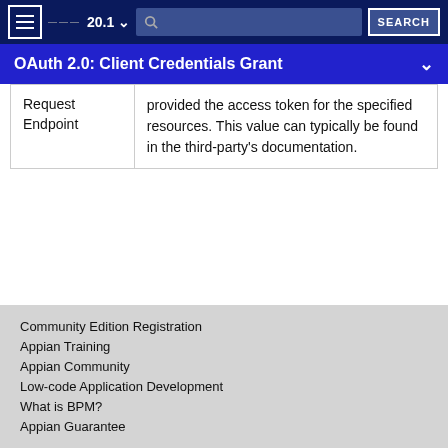20.1  SEARCH
OAuth 2.0: Client Credentials Grant
| Request Endpoint | provided the access token for the specified resources. This value can typically be found in the third-party's documentation. |
Community Edition Registration
Appian Training
Appian Community
Low-code Application Development
What is BPM?
Appian Guarantee